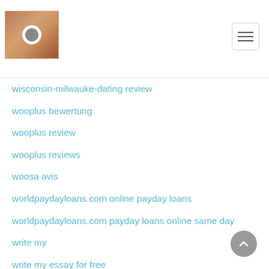Site logo and navigation header
wisconsin-milwauke-dating review
wooplus bewertung
wooplus review
wooplus reviews
woosa avis
worldpaydayloans.com online payday loans
worldpaydayloans.com payday loans online same day
write my
write my essay for free
write my essay paper
www pay day loans